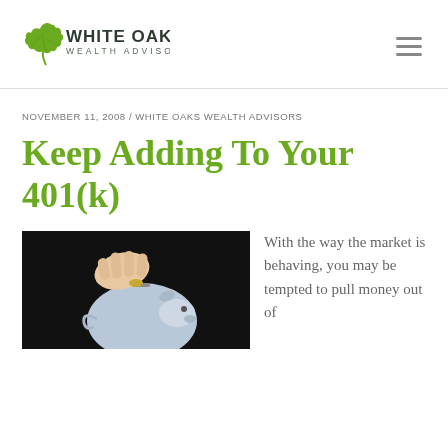[Figure (logo): White Oaks Wealth Advisors logo with oak leaf icon and company name]
NOVEMBER 11, 2008 / WHITE OAKS WEALTH ADVISORS
Keep Adding To Your 401(k)
[Figure (photo): Hands inserting a coin into a piggy bank on a dark background]
With the way the market is behaving, you may be tempted to pull money out of